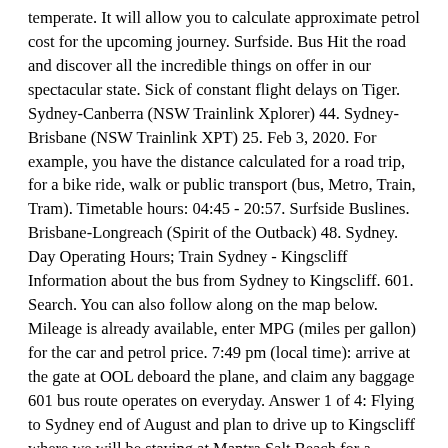temperate. It will allow you to calculate approximate petrol cost for the upcoming journey. Surfside. Bus Hit the road and discover all the incredible things on offer in our spectacular state. Sick of constant flight delays on Tiger. Sydney-Canberra (NSW Trainlink Xplorer) 44. Sydney-Brisbane (NSW Trainlink XPT) 25. Feb 3, 2020. For example, you have the distance calculated for a road trip, for a bike ride, walk or public transport (bus, Metro, Train, Tram). Timetable hours: 04:45 - 20:57. Surfside Buslines. Brisbane-Longreach (Spirit of the Outback) 48. Sydney. Day Operating Hours; Train Sydney - Kingscliff Information about the bus from Sydney to Kingscliff. 601. Search. You can also follow along on the map below. Mileage is already available, enter MPG (miles per gallon) for the car and petrol price. 7:49 pm (local time): arrive at the gate at OOL deboard the plane, and claim any baggage 601 bus route operates on everyday. Answer 1 of 4: Flying to Sydney end of August and plan to drive up to Kingscliff where we will be staying at Mantra Salt Beach for a confrence. 4th recent flight - 4th 1hr+ delay. Sydney-Melbourne (NSW Trainlink XPT) 26. The distance from Sydney to Kingscliff is 662.7 km in a straight line. The travel length between Sydney and Kingscliff takes by bus around 5 hours y 30 minutes, and the approximate price for a bus ticket between Sydney and Kingscliff is $67. You can also try a different route while coming back by adding…